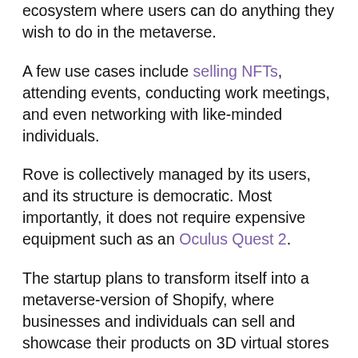ecosystem where users can do anything they wish to do in the metaverse.
A few use cases include selling NFTs, attending events, conducting work meetings, and even networking with like-minded individuals.
Rove is collectively managed by its users, and its structure is democratic. Most importantly, it does not require expensive equipment such as an Oculus Quest 2.
The startup plans to transform itself into a metaverse-version of Shopify, where businesses and individuals can sell and showcase their products on 3D virtual stores that they set up.